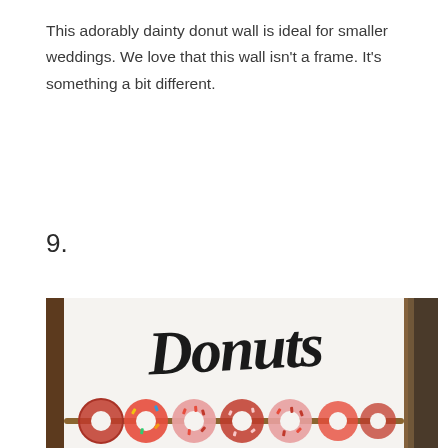This adorably dainty donut wall is ideal for smaller weddings. We love that this wall isn't a frame. It's something a bit different.
9.
[Figure (photo): A donut wall display featuring a white board with 'Donuts' written in large calligraphy script, with a row of pink frosted donuts with sprinkles threaded onto a wooden dowel rod at the bottom.]